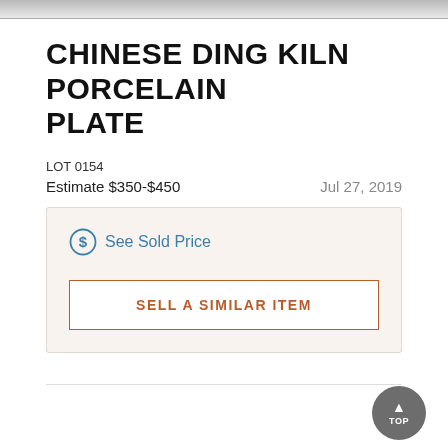[Figure (photo): Top portion of an auction lot image, cropped — gray artifact/ceramic object partially visible]
CHINESE DING KILN PORCELAIN PLATE
LOT 0154
Estimate $350-$450    Jul 27, 2019
See Sold Price
SELL A SIMILAR ITEM